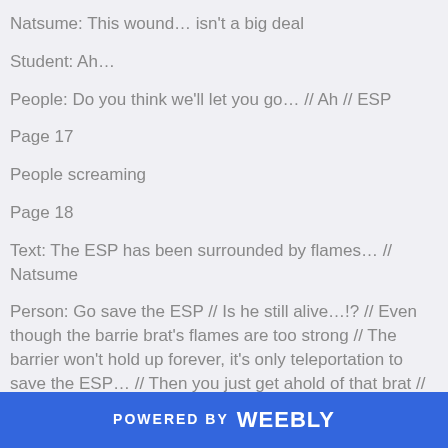Natsume: This wound… isn't a big deal
Student: Ah…
People: Do you think we'll let you go… // Ah // ESP
Page 17
People screaming
Page 18
Text: The ESP has been surrounded by flames… // Natsume
Person: Go save the ESP // Is he still alive…!? // Even though the barrier brat's flames are too strong // The barrier won't hold up forever, it's only teleportation to save the ESP… // Then you just get ahold of that brat // W
Page 19
POWERED BY weebly